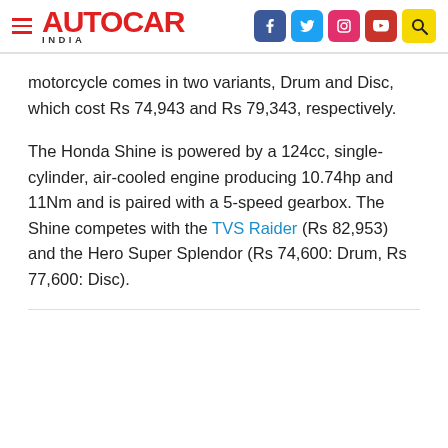AUTOCAR INDIA
motorcycle comes in two variants, Drum and Disc, which cost Rs 74,943 and Rs 79,343, respectively.
The Honda Shine is powered by a 124cc, single-cylinder, air-cooled engine producing 10.74hp and 11Nm and is paired with a 5-speed gearbox. The Shine competes with the TVS Raider (Rs 82,953) and the Hero Super Splendor (Rs 74,600: Drum, Rs 77,600: Disc).